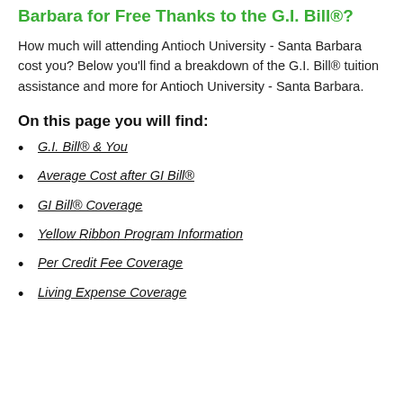Barbara for Free Thanks to the G.I. Bill®?
How much will attending Antioch University - Santa Barbara cost you? Below you'll find a breakdown of the G.I. Bill® tuition assistance and more for Antioch University - Santa Barbara.
On this page you will find:
G.I. Bill® & You
Average Cost after GI Bill®
GI Bill® Coverage
Yellow Ribbon Program Information
Per Credit Fee Coverage
Living Expense Coverage